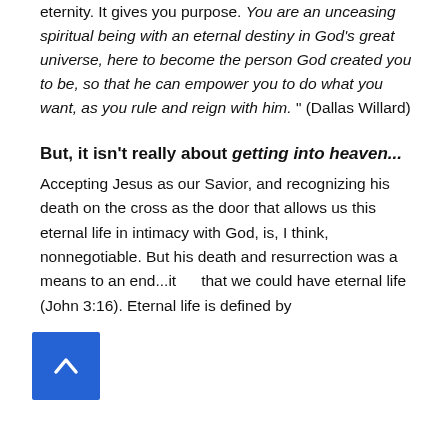eternity. It gives you purpose. "You are an unceasing spiritual being with an eternal destiny in God's great universe, here to become the person God created you to be, so that he can empower you to do what you want, as you rule and reign with him." (Dallas Willard)
But, it isn't really about getting into heaven...
Accepting Jesus as our Savior, and recognizing his death on the cross as the door that allows us this eternal life in intimacy with God, is, I think, nonnegotiable. But his death and resurrection was a means to an end...it [so] that we could have eternal life (John 3:16). Eternal life is defined by